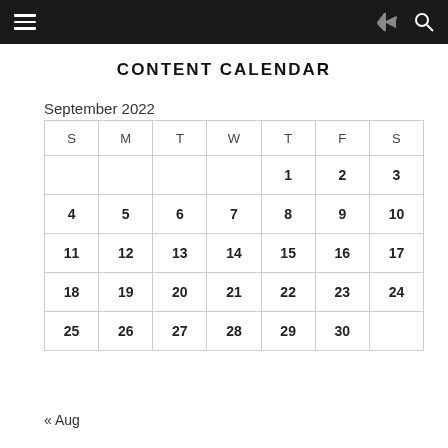CONTENT CALENDAR
CONTENT CALENDAR
September 2022
| S | M | T | W | T | F | S |
| --- | --- | --- | --- | --- | --- | --- |
|  |  |  |  | 1 | 2 | 3 |
| 4 | 5 | 6 | 7 | 8 | 9 | 10 |
| 11 | 12 | 13 | 14 | 15 | 16 | 17 |
| 18 | 19 | 20 | 21 | 22 | 23 | 24 |
| 25 | 26 | 27 | 28 | 29 | 30 |  |
« Aug